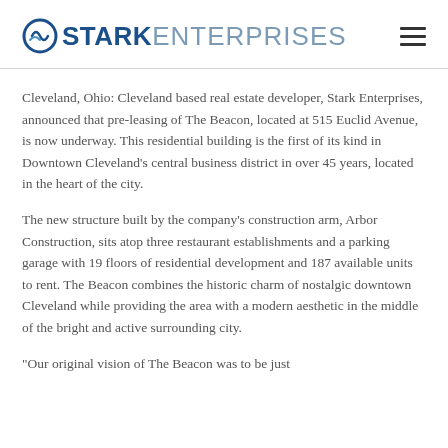STARK ENTERPRISES
Cleveland, Ohio: Cleveland based real estate developer, Stark Enterprises, announced that pre-leasing of The Beacon, located at 515 Euclid Avenue, is now underway. This residential building is the first of its kind in Downtown Cleveland’s central business district in over 45 years, located in the heart of the city.
The new structure built by the company’s construction arm, Arbor Construction, sits atop three restaurant establishments and a parking garage with 19 floors of residential development and 187 available units to rent. The Beacon combines the historic charm of nostalgic downtown Cleveland while providing the area with a modern aesthetic in the middle of the bright and active surrounding city.
“Our original vision of The Beacon was to be just